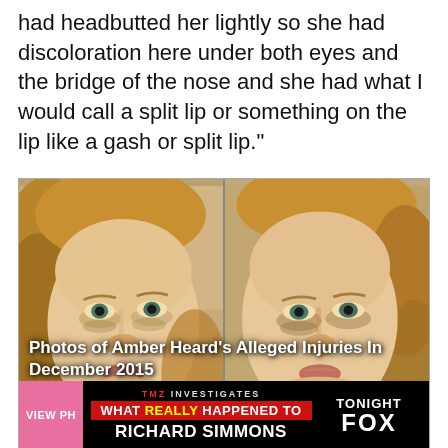had headbutted her lightly so she had discoloration here under both eyes and the bridge of the nose and she had what I would call a split lip or something on the lip like a gash or split lip."
[Figure (photo): Two side-by-side photos of a blonde woman's face showing alleged injuries (discoloration under eyes and nose area) labeled as 'Photos of Amber Heard's Alleged Injuries In December 2015'. A TMZ Investigates banner is overlaid at the bottom advertising a FOX segment about Richard Simmons.]